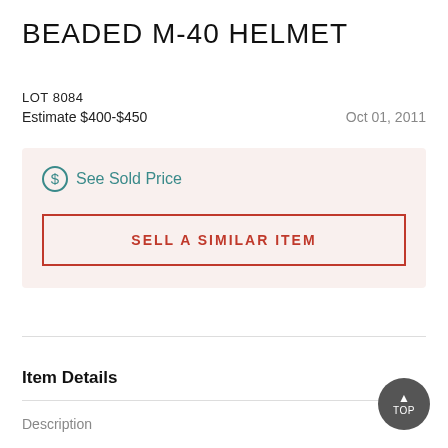BEADED M-40 HELMET
LOT 8084
Estimate $400-$450    Oct 01, 2011
See Sold Price
SELL A SIMILAR ITEM
Item Details
Description